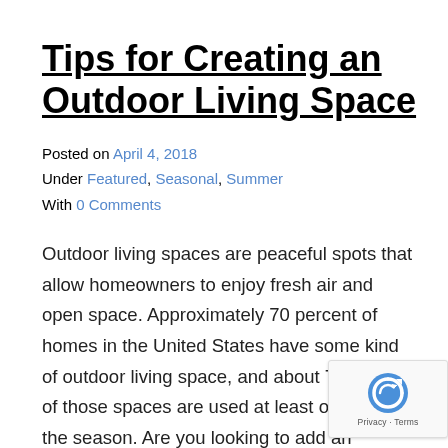Tips for Creating an Outdoor Living Space
Posted on April 4, 2018
Under Featured, Seasonal, Summer
With 0 Comments
Outdoor living spaces are peaceful spots that allow homeowners to enjoy fresh air and open space. Approximately 70 percent of homes in the United States have some kind of outdoor living space, and about 70 percent of those spaces are used at least once during the season. Are you looking to add an outdoor space of your very own? Whether you want a professional team to create your outdoor haven or...